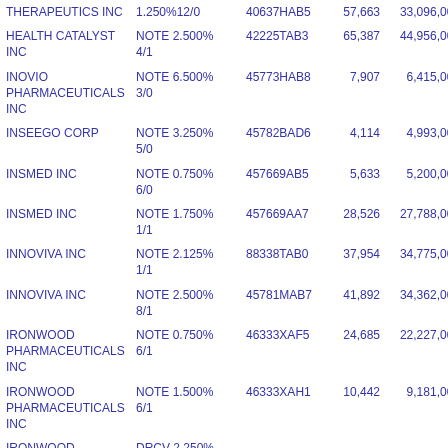| Name | Description | CUSIP | Shares/Units | Value |
| --- | --- | --- | --- | --- |
| THERAPEUTICS INC | 1.250%12/0 | 40637HAB5 | 57,663 | 33,096,000 |
| HEALTH CATALYST INC | NOTE 2.500% 4/1 | 42225TAB3 | 65,387 | 44,956,000 |
| INOVIO PHARMACEUTICALS INC | NOTE 6.500% 3/0 | 45773HAB8 | 7,907 | 6,415,000 |
| INSEEGO CORP | NOTE 3.250% 5/0 | 45782BAD6 | 4,114 | 4,993,000 |
| INSMED INC | NOTE 0.750% 6/0 | 457669AB5 | 5,633 | 5,200,000 |
| INSMED INC | NOTE 1.750% 1/1 | 457669AA7 | 28,526 | 27,788,000 |
| INNOVIVA INC | NOTE 2.125% 1/1 | 88338TAB0 | 37,954 | 34,775,000 |
| INNOVIVA INC | NOTE 2.500% 8/1 | 45781MAB7 | 41,892 | 34,362,000 |
| IRONWOOD PHARMACEUTICALS INC | NOTE 0.750% 6/1 | 46333XAF5 | 24,685 | 22,227,000 |
| IRONWOOD PHARMACEUTICALS INC | NOTE 1.500% 6/1 | 46333XAH1 | 10,442 | 9,181,000 |
| IRONWOOD | DRCV 2.250% |  |  |  |